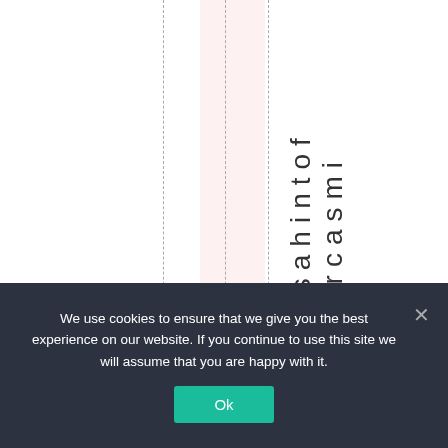[Figure (other): White page area with dashed vertical lines and a pink highlighted column. Vertical text reading 'eisahintof sarcasmi' runs down the right side of the highlighted area.]
We use cookies to ensure that we give you the best experience on our website. If you continue to use this site we will assume that you are happy with it.
Ok